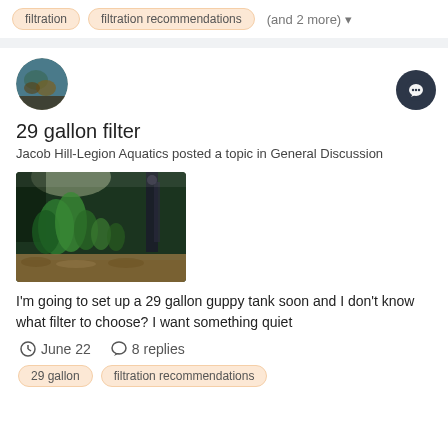filtration
filtration recommendations
(and 2 more)
29 gallon filter
Jacob Hill-Legion Aquatics posted a topic in General Discussion
[Figure (photo): Aquarium tank photo showing green aquatic plants, gravel substrate, and equipment in background]
I'm going to set up a 29 gallon guppy tank soon and I don't know what filter to choose? I want something quiet
June 22   8 replies
29 gallon
filtration recommendations